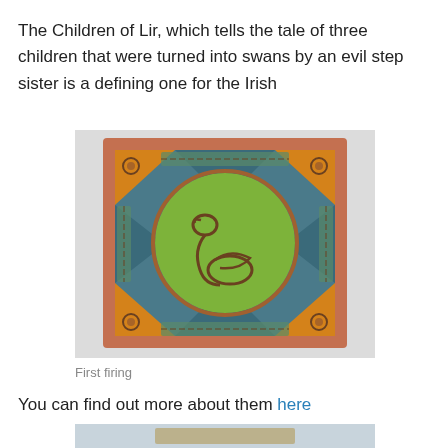The Children of Lir, which tells the tale of three children that were turned into swans by an evil step sister is a defining one for the Irish
[Figure (photo): A Celtic ceramic tile artwork showing a swan rendered in Celtic knotwork style, set within a square tile with decorative knotwork border patterns in teal, orange, and copper colors, with a green circular center featuring the swan motif.]
First firing
You can find out more about them here
[Figure (photo): Bottom of a second image, partially visible, showing what appears to be another ceramic artwork on a light blue/grey background.]